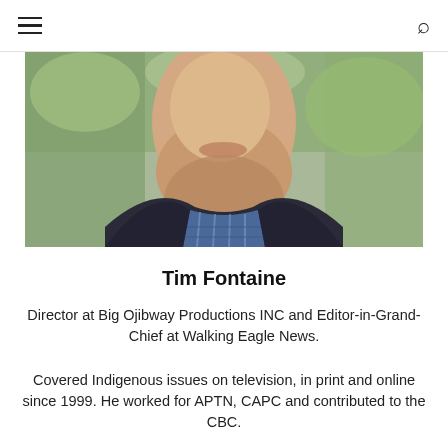≡  🔍
[Figure (photo): Portrait photo of Tim Fontaine, a man in a dark blazer and plaid shirt, photographed from chin/neck area up, with a blurred green outdoor background.]
Tim Fontaine
Director at Big Ojibway Productions INC and Editor-in-Grand-Chief at Walking Eagle News.
Covered Indigenous issues on television, in print and online since 1999. He worked for APTN, CAPC and contributed to the CBC.